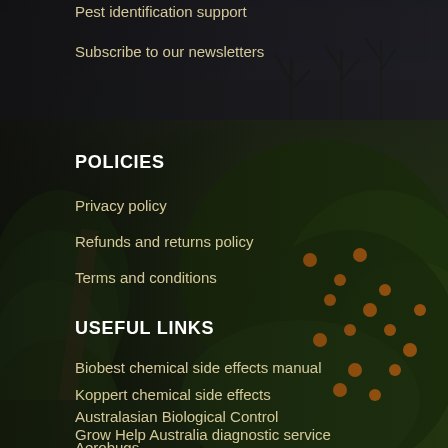Pest identification support
Subscribe to our newsletters
POLICIES
Privacy policy
Refunds and returns policy
Terms and conditions
USEFUL LINKS
Biobest chemical side effects manual
Koppert chemical side effects
Australasian Biological Control
Grow Help Australia diagnostic service
Aerobugs